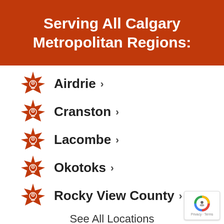Serving All Calgary Metropolitan Regions:
Airdrie ›
Cranston ›
Lacombe ›
Okotoks ›
Rocky View County ›
See All Locations